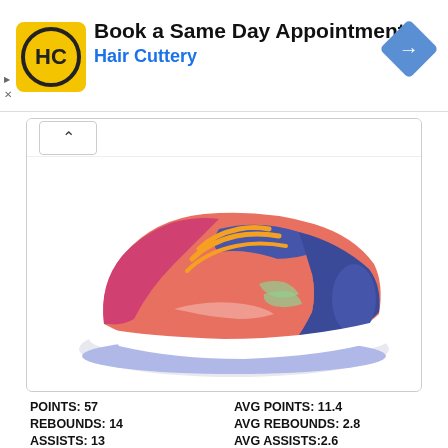[Figure (infographic): Hair Cuttery advertisement banner with logo, text 'Book a Same Day Appointment / Hair Cuttery', and navigation icon]
[Figure (photo): Nike basketball sneaker - colorful shoe with pink/coral upper, blue strap and sole, orange laces, on white background]
POINTS: 57   AVG POINTS: 11.4
REBOUNDS: 14   AVG REBOUNDS: 2.8
ASSISTS: 13   AVG ASSISTS:2.6
STEALS:6   AVG STEALS: 1.2
BLOCKS: 2   AVG BLOCKS: 0.4